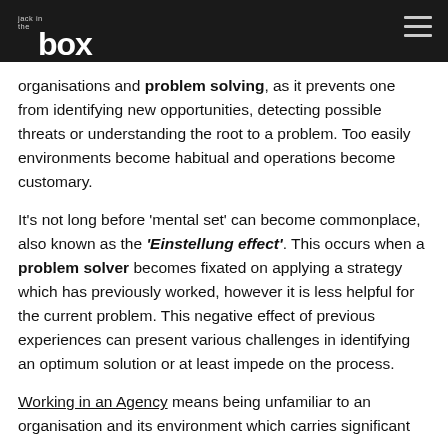jack in the box [logo]
organisations and problem solving, as it prevents one from identifying new opportunities, detecting possible threats or understanding the root to a problem. Too easily environments become habitual and operations become customary.
It's not long before 'mental set' can become commonplace, also known as the 'Einstellung effect'. This occurs when a problem solver becomes fixated on applying a strategy which has previously worked, however it is less helpful for the current problem. This negative effect of previous experiences can present various challenges in identifying an optimum solution or at least impede on the process.
Working in an Agency means being unfamiliar to an organisation and its environment which carries significant